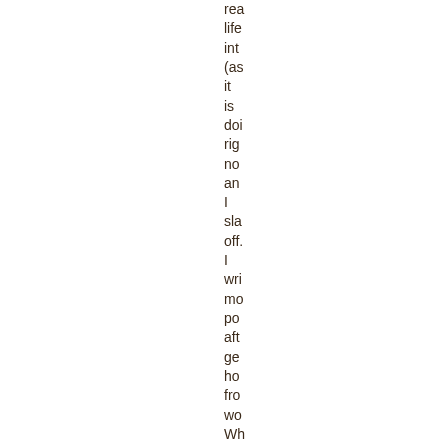rea life inte (as it is doi rig no an I sla off. I wri mo po aft ge ho fro wo Wh tra I oft wri on the air the po wh I rea